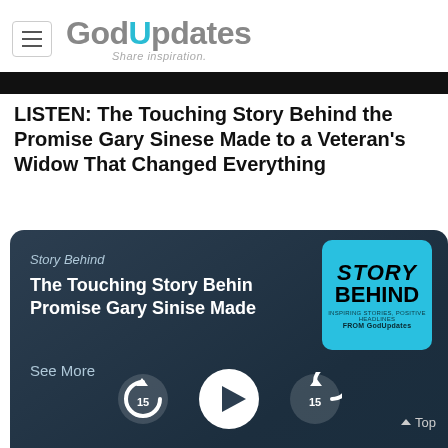GodUpdates — Share inspiration.
LISTEN: The Touching Story Behind the Promise Gary Sinese Made to a Veteran's Widow That Changed Everything
[Figure (screenshot): Podcast player card with dark blue background showing podcast episode titled 'The Touching Story Behind the Promise Gary Sinise Made...' with Story Behind label, See More link, podcast cover art showing STORY BEHIND logo, and media controls (rewind 15, play, forward 15) at bottom]